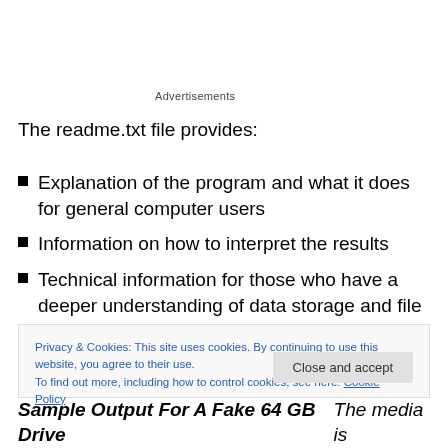Advertisements
The readme.txt file provides:
Explanation of the program and what it does for general computer users
Information on how to interpret the results
Technical information for those who have a deeper understanding of data storage and file writing and for
Privacy & Cookies: This site uses cookies. By continuing to use this website, you agree to their use.
To find out more, including how to control cookies, see here: Cookie Policy
Sample Output For A Fake 64 GB Drive The media is